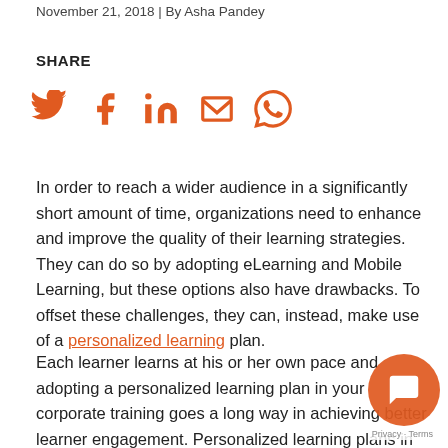November 21, 2018 | By Asha Pandey
SHARE
[Figure (infographic): Social media share icons: Twitter, Facebook, LinkedIn, Email, WhatsApp — all in orange]
In order to reach a wider audience in a significantly short amount of time, organizations need to enhance and improve the quality of their learning strategies. They can do so by adopting eLearning and Mobile Learning, but these options also have drawbacks. To offset these challenges, they can, instead, make use of a personalized learning plan.
Each learner learns at his or her own pace and adopting a personalized learning plan in your corporate training goes a long way in achieving better learner engagement. Personalized learning plans in corporate training enable